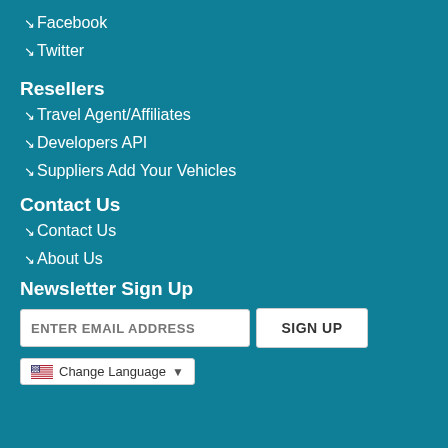↘ Facebook
↘ Twitter
Resellers
↘ Travel Agent/Affiliates
↘ Developers API
↘ Suppliers Add Your Vehicles
Contact Us
↘ Contact Us
↘ About Us
Newsletter Sign Up
ENTER EMAIL ADDRESS | SIGN UP
Change Language